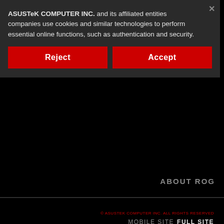ASUSTeK COMPUTER INC. and its affiliated entities companies use cookies and similar technologies to perform essential online functions, such as authentication and security.
Reject
Accept
ABOUT ROG
WHERE TO BUY
FIND SERVICE LOCATIONS
WHY ROG
© ASUSTEK COMPUTER INC. ALL RIGHTS RESERVED   MOBILE SITE  FULL SITE